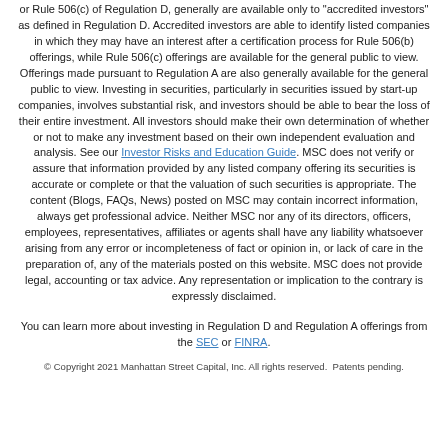or Rule 506(c) of Regulation D, generally are available only to "accredited investors" as defined in Regulation D. Accredited investors are able to identify listed companies in which they may have an interest after a certification process for Rule 506(b) offerings, while Rule 506(c) offerings are available for the general public to view. Offerings made pursuant to Regulation A are also generally available for the general public to view. Investing in securities, particularly in securities issued by start-up companies, involves substantial risk, and investors should be able to bear the loss of their entire investment. All investors should make their own determination of whether or not to make any investment based on their own independent evaluation and analysis. See our Investor Risks and Education Guide. MSC does not verify or assure that information provided by any listed company offering its securities is accurate or complete or that the valuation of such securities is appropriate. The content (Blogs, FAQs, News) posted on MSC may contain incorrect information, always get professional advice. Neither MSC nor any of its directors, officers, employees, representatives, affiliates or agents shall have any liability whatsoever arising from any error or incompleteness of fact or opinion in, or lack of care in the preparation of, any of the materials posted on this website. MSC does not provide legal, accounting or tax advice. Any representation or implication to the contrary is expressly disclaimed.
You can learn more about investing in Regulation D and Regulation A offerings from the SEC or FINRA.
© Copyright 2021 Manhattan Street Capital, Inc. All rights reserved.  Patents pending.